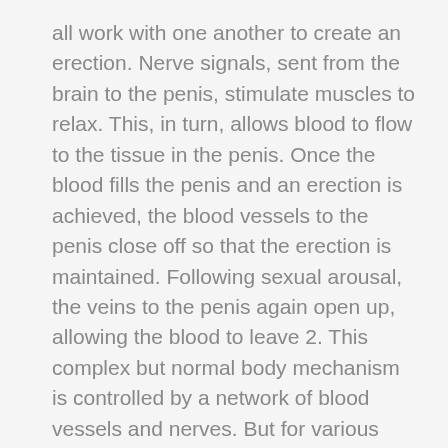all work with one another to create an erection. Nerve signals, sent from the brain to the penis, stimulate muscles to relax. This, in turn, allows blood to flow to the tissue in the penis. Once the blood fills the penis and an erection is achieved, the blood vessels to the penis close off so that the erection is maintained. Following sexual arousal, the veins to the penis again open up, allowing the blood to leave 2. This complex but normal body mechanism is controlled by a network of blood vessels and nerves. But for various reasons men, all of a sudden fail to achieve this erection and as a result erectile dysfunction happens. Impotence is broadly categorised into two classes.